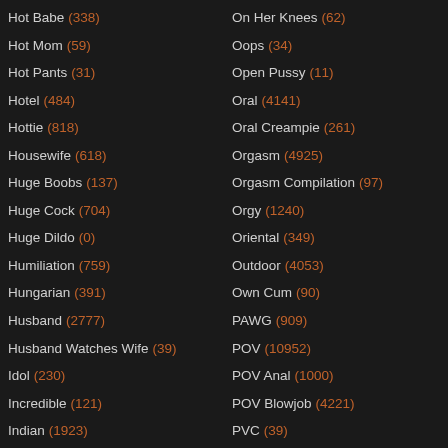Hot Babe (338)
Hot Mom (59)
Hot Pants (31)
Hotel (484)
Hottie (818)
Housewife (618)
Huge Boobs (137)
Huge Cock (704)
Huge Dildo (0)
Humiliation (759)
Hungarian (391)
Husband (2777)
Husband Watches Wife (39)
Idol (230)
Incredible (121)
Indian (1923)
On Her Knees (62)
Oops (34)
Open Pussy (11)
Oral (4141)
Oral Creampie (261)
Orgasm (4925)
Orgasm Compilation (97)
Orgy (1240)
Oriental (349)
Outdoor (4053)
Own Cum (90)
PAWG (909)
POV (10952)
POV Anal (1000)
POV Blowjob (4221)
PVC (39)